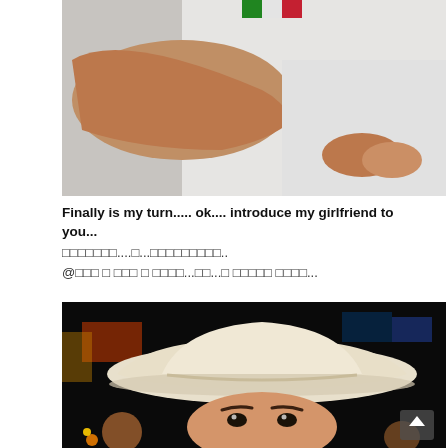[Figure (photo): Close-up photo of a person's arm in a white jersey with a green-white-red collar stripe, embracing someone in a white shirt. Hands are clasped together.]
Finally is my turn..... ok.... introduce my girlfriend to you...
□□□□□□□....□...□□□□□□□□□..
@□□□ □ □□□ □ □□□□...□□...□ □□□□□ □□□□...
[Figure (photo): Selfie-style photo of a person wearing a white cowboy hat outdoors at night. Colorful lights and other people visible in the background. A scroll-up arrow button visible in lower right.]